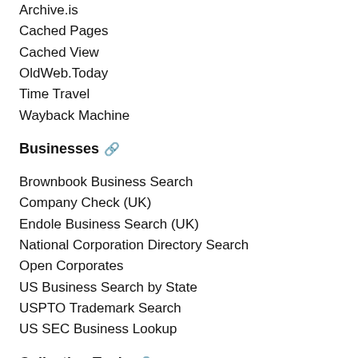Archive.is
Cached Pages
Cached View
OldWeb.Today
Time Travel
Wayback Machine
Businesses 🔗
Brownbook Business Search
Company Check (UK)
Endole Business Search (UK)
National Corporation Directory Search
Open Corporates
US Business Search by State
USPTO Trademark Search
US SEC Business Lookup
Collection Tools 🔗
FireShot Addon
Metaforge